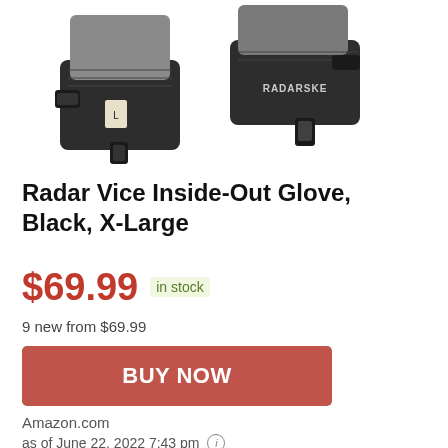[Figure (photo): Product photo showing two Radar Vice Inside-Out water ski gloves in black color, displayed side by side. The gloves feature a gray palm area and black wrist cuff with RADARSKE branding visible.]
Radar Vice Inside-Out Glove, Black, X-Large
$69.99 in stock
9 new from $69.99
BUY NOW
Amazon.com
as of June 22, 2022 7:43 pm